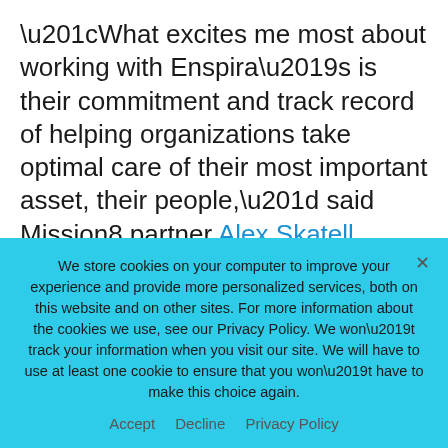“What excites me most about working with Enspira’s is their commitment and track record of helping organizations take optimal care of their most important asset, their people,” said Mission8 partner Alex Skatell. “Combining best-in-class HR experience with cutting edge technology will take organizations further than ever before.”
Enspira’s unique combination of HR-related
We store cookies on your computer to improve your experience and provide more personalized services, both on this website and on other sites. For more information about the cookies we use, see our Privacy Policy. We won’t track your information when you visit our site. We will have to use at least one cookie to ensure that you won’t have to make this choice again.
Accept   Decline   Privacy Policy